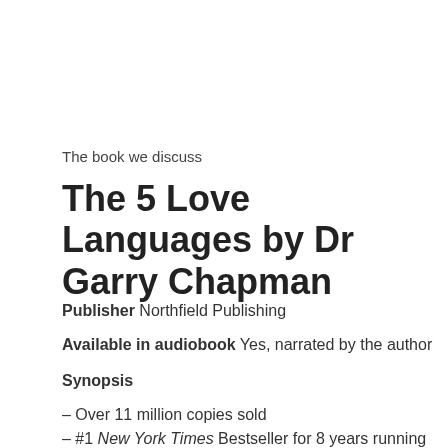The book we discuss
The 5 Love Languages by Dr Garry Chapman
Publisher Northfield Publishing
Available in audiobook Yes, narrated by the author
Synopsis
– Over 11 million copies sold
– #1 New York Times Bestseller for 8 years running